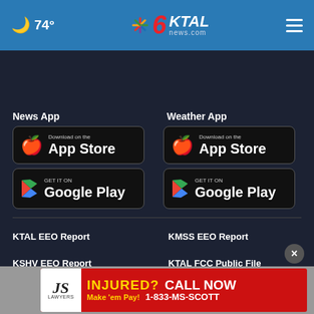74° KTAL news.com
News App
[Figure (screenshot): Download on the App Store button (black)]
[Figure (screenshot): GET IT ON Google Play button (black)]
Weather App
[Figure (screenshot): Download on the App Store button (black)]
[Figure (screenshot): GET IT ON Google Play button (black)]
KTAL EEO Report
KMSS EEO Report
KSHV EEO Report
KTAL FCC Public File
KMSS FCC Public File
KSHV FCC Public File
Nexst
[Figure (infographic): Advertisement banner: INJURED? CALL NOW Make 'em Pay! 1-833-MS-SCOTT with JS Lawyers logo]